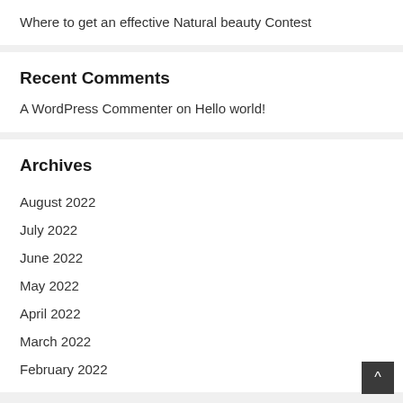Where to get an effective Natural beauty Contest
Recent Comments
A WordPress Commenter on Hello world!
Archives
August 2022
July 2022
June 2022
May 2022
April 2022
March 2022
February 2022